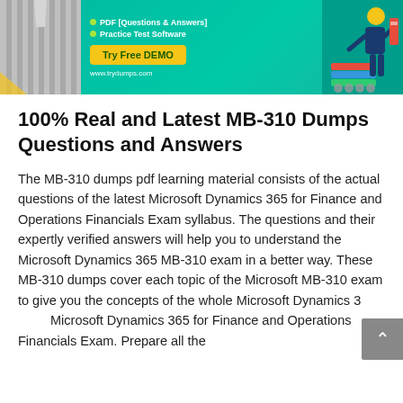[Figure (infographic): Promotional banner for tryDumps.com with teal/green background showing a person in a striped shirt on the left, bullet points listing PDF Questions & Answers and Practice Test Software, a Try Free DEMO button in yellow, the URL www.trydumps.com, and a figure on the right holding books.]
100% Real and Latest MB-310 Dumps Questions and Answers
The MB-310 dumps pdf learning material consists of the actual questions of the latest Microsoft Dynamics 365 for Finance and Operations Financials Exam syllabus. The questions and their expertly verified answers will help you to understand the Microsoft Dynamics 365 MB-310 exam in a better way. These MB-310 dumps cover each topic of the Microsoft MB-310 exam to give you the concepts of the whole Microsoft Dynamics 365 Microsoft Dynamics 365 for Finance and Operations Financials Exam. Prepare all the